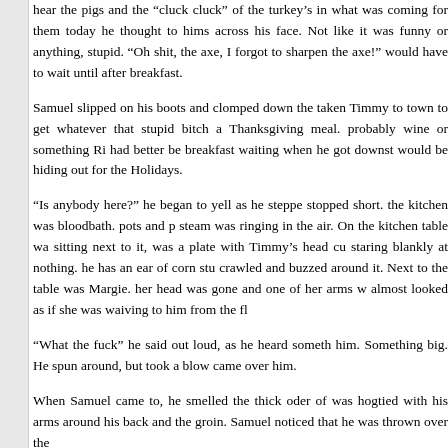hear the pigs and the “cluck cluck” of the turkey’s in what was coming for them today he thought to himself across his face. Not like it was funny or anything, stupid. “Oh shit, the axe, I forgot to sharpen the axe!” would have to wait until after breakfast.

Samuel slipped on his boots and clomped down the taken Timmy to town to get whatever that stupid bitch a Thanksgiving meal. probably wine or something Ri had better be breakfast waiting when he got downst would be hiding out for the Holidays.

“Is anybody here?” he began to yell as he steppe stopped short. the kitchen was bloodbath. pots and p steam was ringing in the air. On the kitchen table wa sitting next to it, was a plate with Timmy’s head cu staring blankly at nothing. he has an ear of corn stu crawled and buzzed around it. Next to the table was Margie. her head was gone and one of her arms w almost looked as if she was waiving to him from the fl

“What the fuck” he said out loud, as he heard someth him. Something big. He spun around, but took a blow came over him.

When Samuel came to, he smelled the thick oder of was hogtied with his arms around his back and the groin. Samuel noticed that he was thrown over the